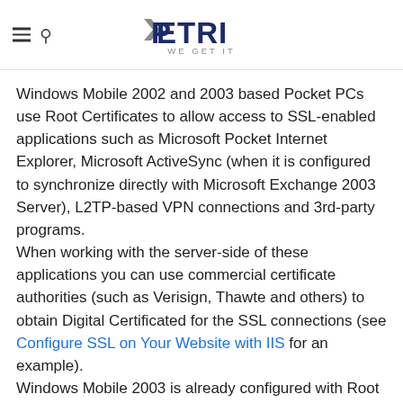PETRI WE GET IT
Windows Mobile 2002 and 2003 based Pocket PCs use Root Certificates to allow access to SSL-enabled applications such as Microsoft Pocket Internet Explorer, Microsoft ActiveSync (when it is configured to synchronize directly with Microsoft Exchange 2003 Server), L2TP-based VPN connections and 3rd-party programs. When working with the server-side of these applications you can use commercial certificate authorities (such as Verisign, Thawte and others) to obtain Digital Certificated for the SSL connections (see Configure SSL on Your Website with IIS for an example). Windows Mobile 2003 is already configured with Root Certificates that represent the following